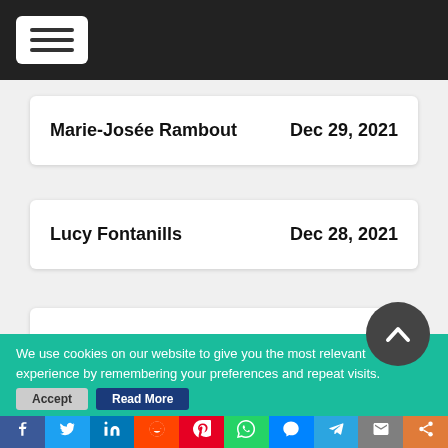Navigation menu header bar
Marie-Josée Rambout — Dec 29, 2021
Lucy Fontanills — Dec 28, 2021
We use cookies on our website to give you the most relevant experience by remembering your preferences and repeat visits.